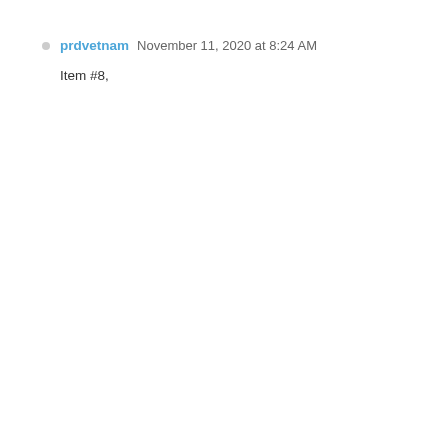prdvetnam  November 11, 2020 at 8:24 AM
Item #8,